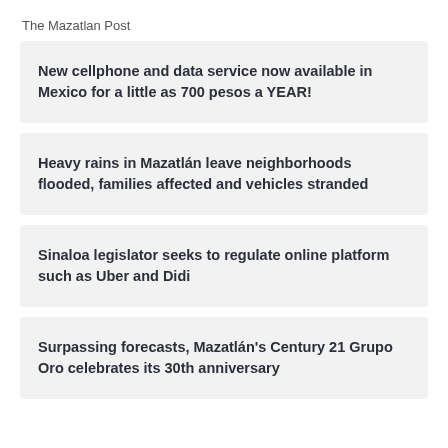The Mazatlan Post
New cellphone and data service now available in Mexico for a little as 700 pesos a YEAR!
Heavy rains in Mazatlán leave neighborhoods flooded, families affected and vehicles stranded
Sinaloa legislator seeks to regulate online platform such as Uber and Didi
Surpassing forecasts, Mazatlán's Century 21 Grupo Oro celebrates its 30th anniversary